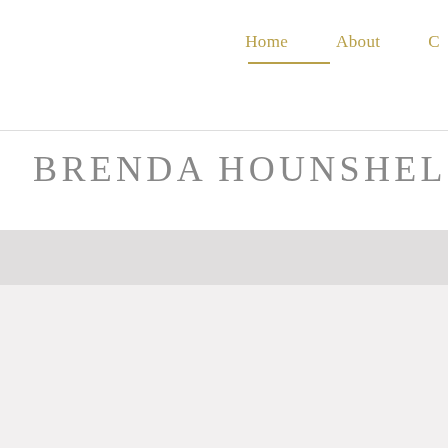Home    About    C
BRENDA HOUNSHEL